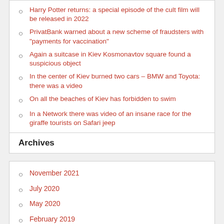Harry Potter returns: a special episode of the cult film will be released in 2022
PrivatBank warned about a new scheme of fraudsters with "payments for vaccination"
Again a suitcase in Kiev Kosmonavtov square found a suspicious object
In the center of Kiev burned two cars – BMW and Toyota: there was a video
On all the beaches of Kiev has forbidden to swim
In a Network there was video of an insane race for the giraffe tourists on Safari jeep
Archives
November 2021
July 2020
May 2020
February 2019